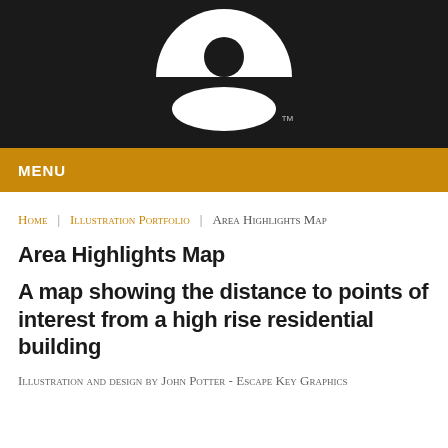[Figure (logo): Escape Key Graphics logo: white semicircle with dark circle cutout above a white oval, on dark background, with TM mark]
MENU
Home   Illustration Portfolio   Area Highlights Map
Area Highlights Map
A map showing the distance to points of interest from a high rise residential building
Illustration and design by John Potter - Escape Key Graphics